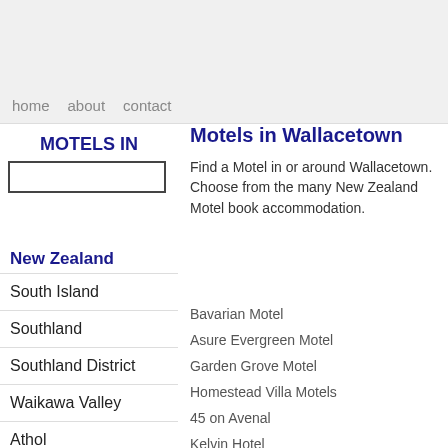home  about  contact
MOTELS IN
Motels in Wallacetown
Find a Motel in or around Wallacetown. Choose from the many New Zealand Motel book accommodation.
New Zealand
South Island
Southland
Southland District
Waikawa Valley
Athol
Centre Bush
Colac Bay
Dipton
Bavarian Motel
Asure Evergreen Motel
Garden Grove Motel
Homestead Villa Motels
45 on Avenal
Kelvin Hotel
Golden Leaf Apartments
Quest Invercargill Apartments
Tower Lodge Motel